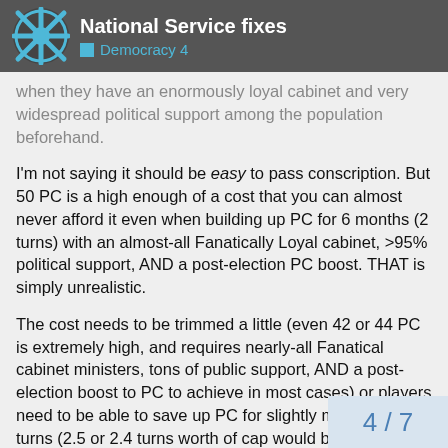National Service fixes — Democracy 4
when they have an enormously loyal cabinet and very widespread political support among the population beforehand.
I'm not saying it should be easy to pass conscription. But 50 PC is a high enough of a cost that you can almost never afford it even when building up PC for 6 months (2 turns) with an almost-all Fanatically Loyal cabinet, >95% political support, AND a post-election PC boost. THAT is simply unrealistic.
The cost needs to be trimmed a little (even 42 or 44 PC is extremely high, and requires nearly-all Fanatical cabinet ministers, tons of public support, AND a post-election boost to PC to achieve in most cases) or players need to be able to save up PC for slightly more than 2 turns (2.5 or 2.4 turns worth of cap would be a bit more realistic-representing highly controversial issues, like Obamacare was, that take more than 6 months to pu legislature...) or get some kind of discou